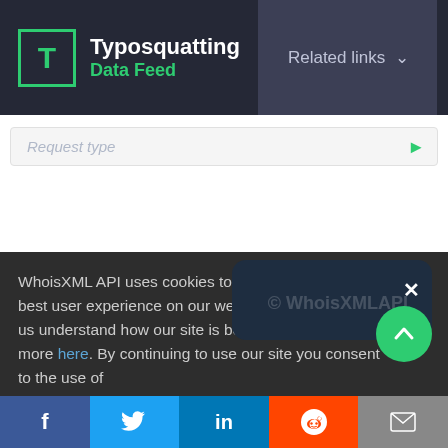Typosquatting Data Feed
Related links
Request type
WhoisXML API uses cookies to provide you with the best user experience on our website. They also help us understand how our site is being used. Find out more here. By continuing to use our site you consent to the use of